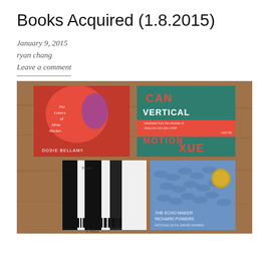Books Acquired (1.8.2015)
January 9, 2015
ryan chang
Leave a comment
[Figure (photo): Photograph of four book covers arranged in a 2x2 grid on a wooden surface. Top-left: 'The Letters of Mina Harker' by Dodie Bellamy (red cover with face). Top-right: 'Can Vertical Motion' by Xue (teal/red cover). Bottom-left: Black and white striped book (title unclear). Bottom-right: 'The Echo Maker' by Richard Powers (blue cover with gold medallion).]